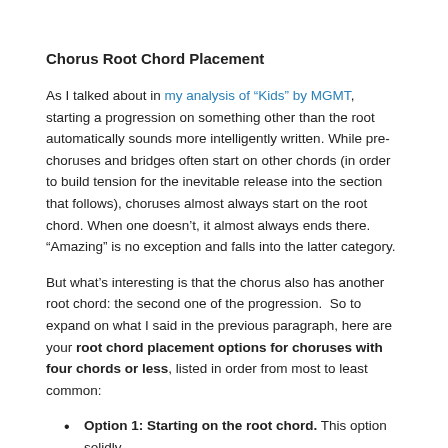Chorus Root Chord Placement
As I talked about in my analysis of “Kids” by MGMT, starting a progression on something other than the root automatically sounds more intelligently written. While pre-choruses and bridges often start on other chords (in order to build tension for the inevitable release into the section that follows), choruses almost always start on the root chord. When one doesn’t, it almost always ends there. “Amazing” is no exception and falls into the latter category.
But what’s interesting is that the chorus also has another root chord: the second one of the progression.  So to expand on what I said in the previous paragraph, here are your root chord placement options for choruses with four chords or less, listed in order from most to least common:
Option 1: Starting on the root chord. This option solidly